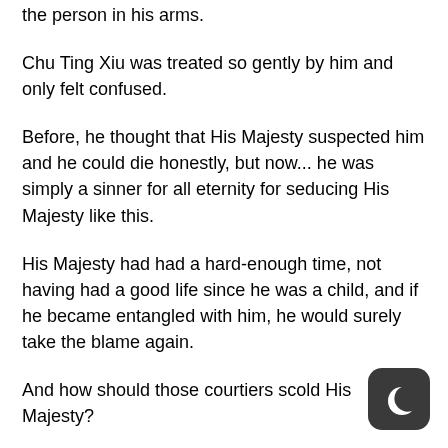the person in his arms.
Chu Ting Xiu was treated so gently by him and only felt confused.
Before, he thought that His Majesty suspected him and he could die honestly, but now... he was simply a sinner for all eternity for seducing His Majesty like this.
His Majesty had had a hard-enough time, not having had a good life since he was a child, and if he became entangled with him, he would surely take the blame again.
And how should those courtiers scold His Majesty?
He couldn't bear to see His Majesty go through all that.